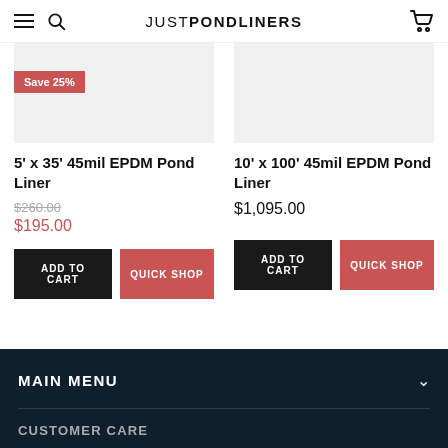JUSTPONDLINERS
[Figure (photo): Product image placeholder for 5x35 45mil EPDM Pond Liner with red Save 25% badge]
5' x 35' 45mil EPDM Pond Liner
$260.00 (original price, strikethrough) $195.00 (sale price)
ADD TO CART | QUICK SHOP
[Figure (photo): Product image placeholder for 10x100 45mil EPDM Pond Liner]
10' x 100' 45mil EPDM Pond Liner
$1,095.00
ADD TO CART | QUICK SHOP
MAIN MENU | CUSTOMER CARE